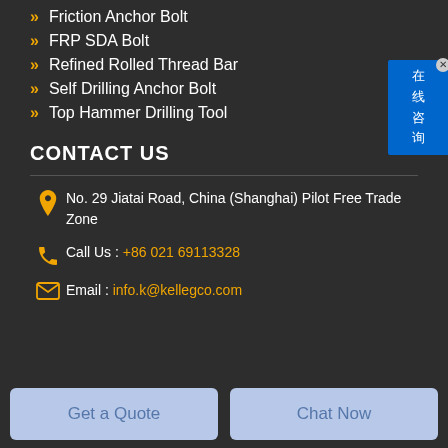Friction Anchor Bolt
FRP SDA Bolt
Refined Rolled Thread Bar
Self Drilling Anchor Bolt
Top Hammer Drilling Tool
CONTACT US
No. 29 Jiatai Road, China (Shanghai) Pilot Free Trade Zone
Call Us : +86 021 69113328
Email : info.k@kellegco.com